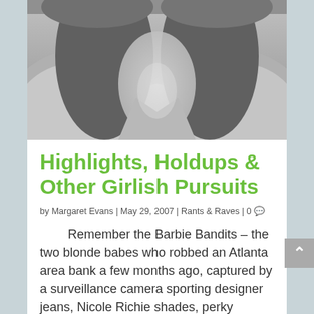[Figure (photo): Grayscale cropped photo of a person, showing neck and shoulders area with long dark hair, wearing a jacket. The face is cut off at the top of the frame.]
Highlights, Holdups & Other Girlish Pursuits
by Margaret Evans | May 29, 2007 | Rants & Raves | 0
Remember the Barbie Bandits – the two blonde babes who robbed an Atlanta area bank a few months ago, captured by a surveillance camera sporting designer jeans, Nicole Richie shades, perky ponytails and